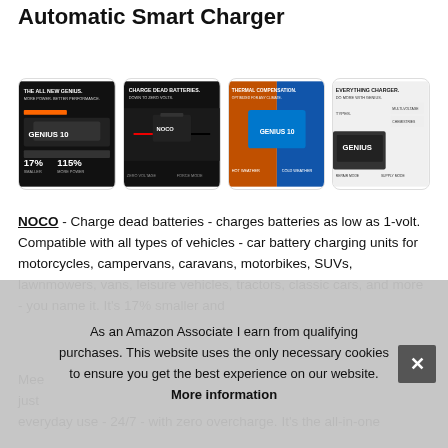Automatic Smart Charger
[Figure (photo): Four product advertisement images for NOCO Genius smart charger showing: 17% smaller/115% more power; Charge dead batteries down to zero volts; Thermal compensation; Everything charger]
NOCO - Charge dead batteries - charges batteries as low as 1-volt. Compatible with all types of vehicles - car battery charging units for motorcycles, campervans, caravans, motorbikes, SUVs, lawnmowers, vans, leisure vehicles, tractors, classic cars, and more - you name it. It's 17% smaller and
Mee
just
everyday use - 24/7 - with zero overcharge. It's the all-in-one
As an Amazon Associate I earn from qualifying purchases. This website uses the only necessary cookies to ensure you get the best experience on our website. More information